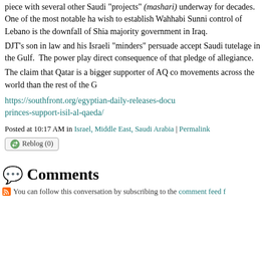piece with several other Saudi "projects" (mashari) underway for decades. One of the most notable ha wish to establish Wahhabi Sunni control of Lebano is the downfall of Shia majority government in Iraq.
DJT's son in law and his Israeli "minders" persuade accept Saudi tutelage in the Gulf. The power play direct consequence of that pledge of allegiance.
The claim that Qatar is a bigger supporter of AQ co movements across the world than the rest of the G
https://southfront.org/egyptian-daily-releases-docu princes-support-isil-al-qaeda/
Posted at 10:17 AM in Israel, Middle East, Saudi Arabia | Permalink
Reblog (0)
Comments
You can follow this conversation by subscribing to the comment feed f